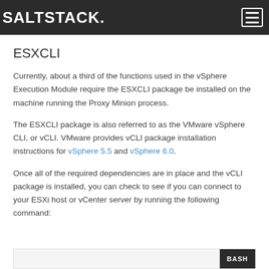SALTSTACK.
ESXCLI
Currently, about a third of the functions used in the vSphere Execution Module require the ESXCLI package be installed on the machine running the Proxy Minion process.
The ESXCLI package is also referred to as the VMware vSphere CLI, or vCLI. VMware provides vCLI package installation instructions for vSphere 5.5 and vSphere 6.0.
Once all of the required dependencies are in place and the vCLI package is installed, you can check to see if you can connect to your ESXi host or vCenter server by running the following command:
BASH